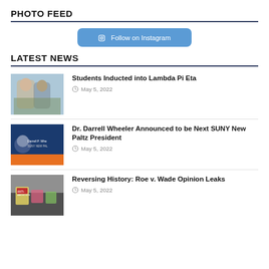PHOTO FEED
[Figure (other): Follow on Instagram button with Instagram camera icon]
LATEST NEWS
[Figure (photo): Two female students smiling for a photo]
Students Inducted into Lambda Pi Eta
May 5, 2022
[Figure (photo): Blue banner with text about Darrell P. Wheeler and SUNY New Paltz]
Dr. Darrell Wheeler Announced to be Next SUNY New Paltz President
May 5, 2022
[Figure (photo): Protest crowd with signs about anti-abortion]
Reversing History: Roe v. Wade Opinion Leaks
May 5, 2022